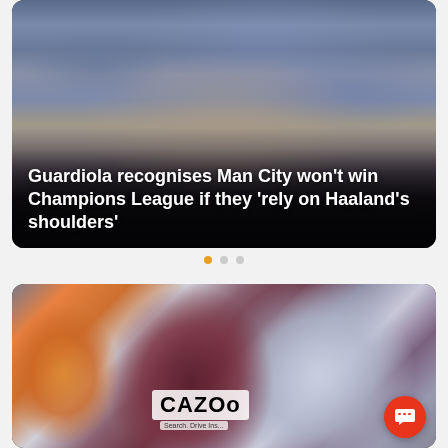[Figure (photo): Pep Guardiola on the touchline, pointing and gesturing during a match, with another person in black nearby and a crowd in the background]
Guardiola recognises Man City won't win Champions League if they 'rely on Haaland's shoulders'
[Figure (photo): Aston Villa footballer in maroon Cazoo-sponsored kit walking with Steven Gerrard in a light blue suit and tie, with a steward in orange hi-vis visible on the left]